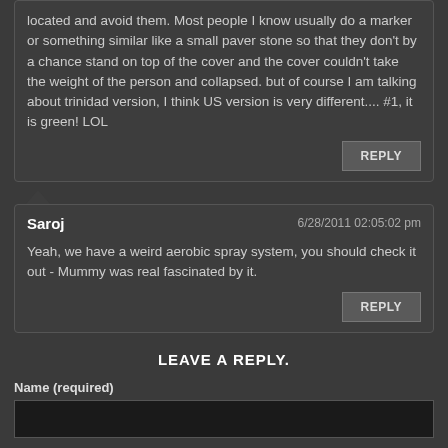located and avoid them. Most people I know usually do a marker or something similar like a small paver stone so that they don't by a chance stand on top of the cover and the cover couldn't take the weight of the person and collapsed. but of course I am talking about trinidad version, I think US version is very different.... #1, it is green! LOL
Yeah, we have a weird aerobic spray system, you should check it out - Mummy was real fascinated by it.
LEAVE A REPLY.
Name (required)
Email (not published)